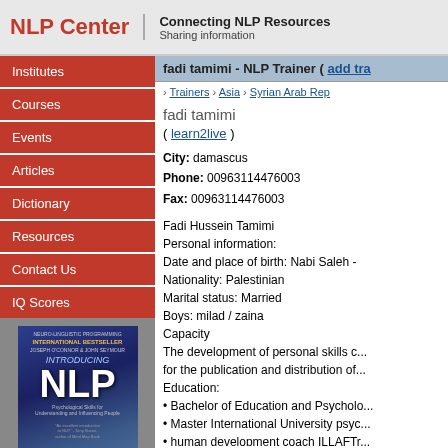NLP Center | Connecting NLP Resources | Sharing information
Institutes
Courses
Events
Articles
Dictionary
Resources
Contact Us
IQ Scores
[Figure (illustration): Book cover: Introducing NLP by Joseph O'Connor, John Seymour. International Bestseller. Psychological Skills for Understanding and Influencing People.]
By Joseph O'Connor, John Seymour
fadi tamimi - NLP Trainer ( add tra...
> Trainers > Asia > Syrian Arab Rep...
fadi tamimi
( learn2live )
City: damascus
Phone: 00963114476003
Fax: 00963114476003
Fadi Hussein Tamimi
Personal information:
Date and place of birth: Nabi Saleh -
Nationality: Palestinian
Marital status: Married
Boys: milad / zaina
Capacity
The development of personal skills c... for the publication and distribution of...
Education:
• Bachelor of Education and Psycholo...
• Master International University psyc...
• human development coach ILLAFTr...
Work experience: